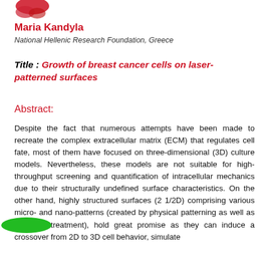[Figure (illustration): Partial decorative image at top left, appears to be a red ribbon or lips graphic]
Maria Kandyla
National Hellenic Research Foundation, Greece
Title : Growth of breast cancer cells on laser-patterned surfaces
Abstract:
Despite the fact that numerous attempts have been made to recreate the complex extracellular matrix (ECM) that regulates cell fate, most of them have focused on three-dimensional (3D) culture models. Nevertheless, these models are not suitable for high-throughput screening and quantification of intracellular mechanics due to their structurally undefined surface characteristics. On the other hand, highly structured surfaces (2 1/2D) comprising various micro- and nano-patterns (created by physical patterning as well as chemical treatment), hold great promise as they can induce a crossover from 2D to 3D cell behavior, simulate
[Figure (illustration): Green oval badge/button overlay on text]